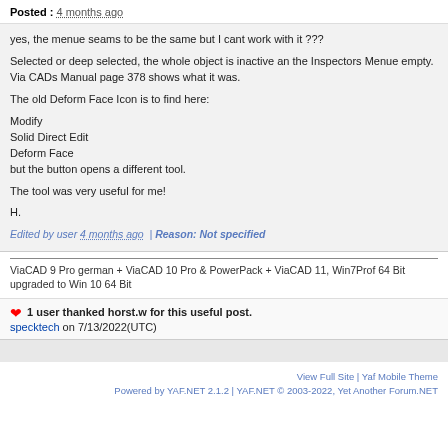Posted : 4 months ago
yes, the menue seams to be the same but I cant work with it ???

Selected or deep selected, the whole object is inactive an the Inspectors Menue empty. Via CADs Manual page 378 shows what it was.

The old Deform Face Icon is to find here:

Modify
Solid Direct Edit
Deform Face
but the button opens a different tool.

The tool was very useful for me!

H.
Edited by user 4 months ago  | Reason: Not specified
ViaCAD 9 Pro german + ViaCAD 10 Pro & PowerPack + ViaCAD 11, Win7Prof 64 Bit upgraded to Win 10 64 Bit
1 user thanked horst.w for this useful post.
specktech on 7/13/2022(UTC)
View Full Site | Yaf Mobile Theme
Powered by YAF.NET 2.1.2 | YAF.NET © 2003-2022, Yet Another Forum.NET